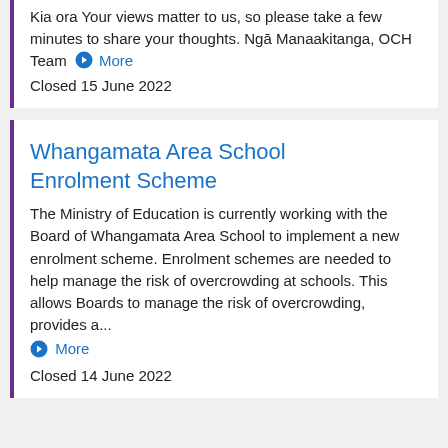Kia ora Your views matter to us, so please take a few minutes to share your thoughts. Ngā Manaakitanga, OCH Team → More
Closed 15 June 2022
Whangamata Area School Enrolment Scheme
The Ministry of Education is currently working with the Board of Whangamata Area School to implement a new enrolment scheme. Enrolment schemes are needed to help manage the risk of overcrowding at schools. This allows Boards to manage the risk of overcrowding, provides a... → More
Closed 14 June 2022